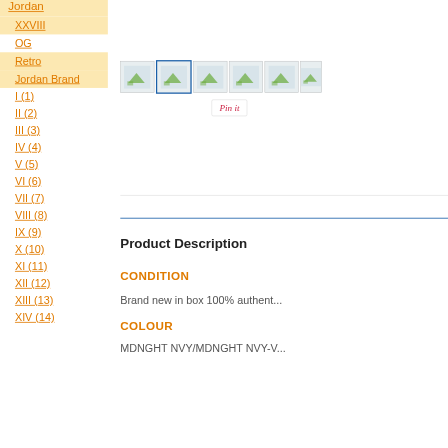Jordan
XXVIII
OG
Retro
Jordan Brand
I (1)
II (2)
III (3)
IV (4)
V (5)
VI (6)
VII (7)
VIII (8)
IX (9)
X (10)
XI (11)
XII (12)
XIII (13)
XIV (14)
[Figure (screenshot): Thumbnail image strip with 7 product image thumbnails, second one selected with blue border, followed by a Pin it button]
Product Description
CONDITION
Brand new in box 100% authent...
COLOUR
MDNGHT NVY/MDNGHT NVY-V...